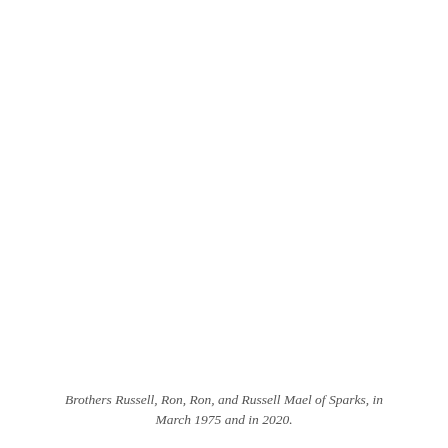Brothers Russell, Ron, Ron, and Russell Mael of Sparks, in March 1975 and in 2020.